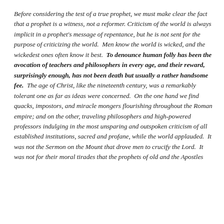Before considering the test of a true prophet, we must make clear the fact that a prophet is a witness, not a reformer. Criticism of the world is always implicit in a prophet's message of repentance, but he is not sent for the purpose of criticizing the world. Men know the world is wicked, and the wickedest ones often know it best. To denounce human folly has been the avocation of teachers and philosophers in every age, and their reward, surprisingly enough, has not been death but usually a rather handsome fee. The age of Christ, like the nineteenth century, was a remarkably tolerant one as far as ideas were concerned. On the one hand we find quacks, impostors, and miracle mongers flourishing throughout the Roman empire; and on the other, traveling philosophers and high-powered professors indulging in the most unsparing and outspoken criticism of all established institutions, sacred and profane, while the world applauded. It was not the Sermon on the Mount that drove men to crucify the Lord. It was not for their moral tirades that the prophets of old and the Apostles